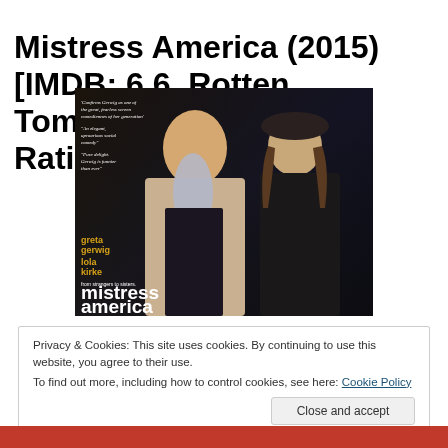Mistress America (2015) [IMDB: 6.6, Rotten Tomatoes:82%, My Rating:6.5 ]
[Figure (photo): Movie poster for Mistress America featuring two women walking together, with text 'greta gerwig', 'lola kirke', 'from strangers to sisters', 'mistress america', review quotes and credits.]
Privacy & Cookies: This site uses cookies. By continuing to use this website, you agree to their use.
To find out more, including how to control cookies, see here: Cookie Policy
Close and accept